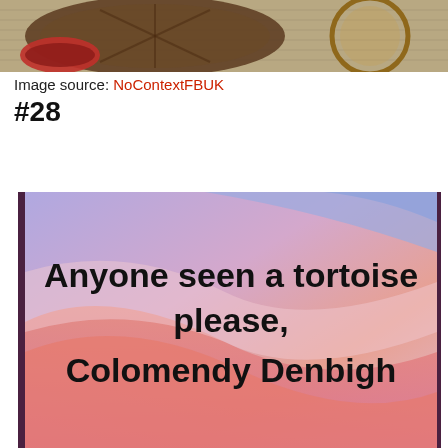[Figure (photo): Partial image at top showing what appears to be a tortoise or animal on a textured surface, cropped at the top of the page]
Image source: NoContextFBUK
#28
[Figure (screenshot): Screenshot of a Facebook or social media post with a colorful gradient background (pink, salmon, purple, blue waves) and bold black text reading: Anyone seen a tortoise please, Colomendy Denbigh]